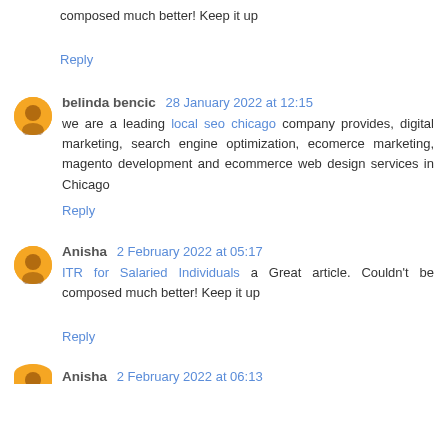composed much better! Keep it up
Reply
belinda bencic  28 January 2022 at 12:15
we are a leading local seo chicago company provides, digital marketing, search engine optimization, ecomerce marketing, magento development and ecommerce web design services in Chicago
Reply
Anisha  2 February 2022 at 05:17
ITR for Salaried Individuals a Great article. Couldn't be composed much better! Keep it up
Reply
Anisha  2 February 2022 at 06:13